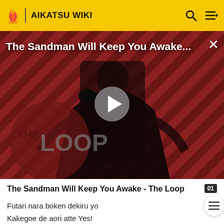AIKATSU WIKI
[Figure (screenshot): Video thumbnail for 'The Sandman Will Keep You Awake - The Loop' showing a figure in black cape against a red diagonal striped background, with THE LOOP text overlay and a play button in the center]
The Sandman Will Keep You Awake - The Loop
Futari nara boken dekiru yo
Kakegoe de aori atte Yes!
Tokimeki matador mugendai
Shiranakatta sekai, kojiake